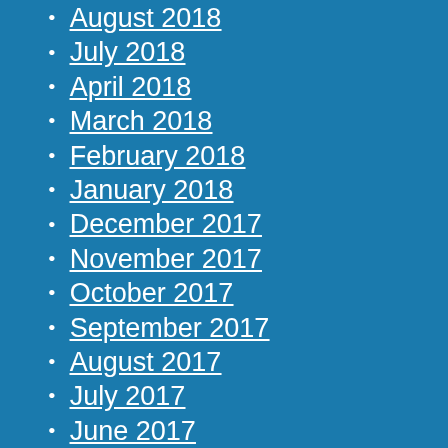August 2018
July 2018
April 2018
March 2018
February 2018
January 2018
December 2017
November 2017
October 2017
September 2017
August 2017
July 2017
June 2017
May 2017
April 2017